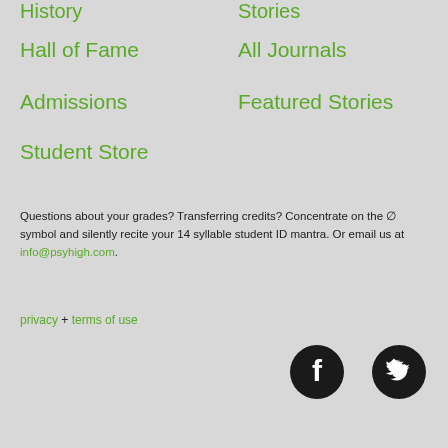History
Stories
Hall of Fame
All Journals
Admissions
Featured Stories
Student Store
Questions about your grades? Transferring credits? Concentrate on the ∅ symbol and silently recite your 14 syllable student ID mantra. Or email us at info@psyhigh.com.
privacy + terms of use
[Figure (illustration): Facebook icon (black circle with white F) and Twitter icon (black circle with white bird)]